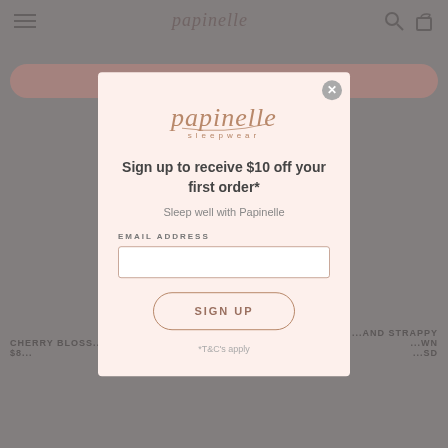[Figure (screenshot): Background of an e-commerce sleepwear website (Papinelle) with hamburger menu, logo, search icon, bag icon, a pink pill-shaped 'REFINE' button, and product listings partially visible, all dimmed by a modal overlay.]
[Figure (screenshot): Modal popup with Papinelle sleepwear logo, headline 'Sign up to receive $10 off your first order*', subtext 'Sleep well with Papinelle', email address input field, SIGN UP button, and *T&C's apply footnote. Close (X) button in top-right corner.]
Sign up to receive $10 off your first order*
Sleep well with Papinelle
EMAIL ADDRESS
SIGN UP
*T&C's apply